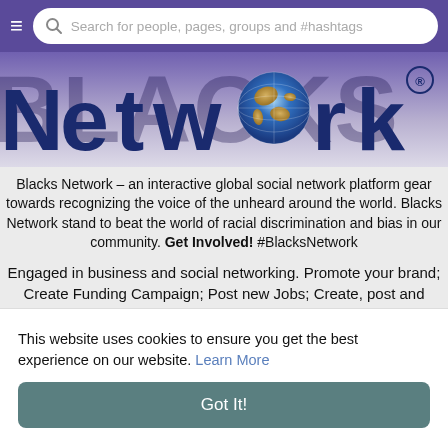[Figure (screenshot): Navigation bar with hamburger menu icon and search bar with placeholder text 'Search for people, pages, groups and #hashtags']
[Figure (logo): Blacks Network logo — large blue bold text 'Network' with a globe replacing the 'o', and registered trademark symbol. Purple/blue gradient background with partial text 'BLACKS' behind.]
Blacks Network – an interactive global social network platform gear towards recognizing the voice of the unheard around the world. Blacks Network stand to beat the world of racial discrimination and bias in our community. Get Involved! #BlacksNetwork
Engaged in business and social networking. Promote your brand; Create Funding Campaign; Post new Jobs; Create, post and manage marketplace. Start social groups and post events. Upload videos, music, and photos.
This website uses cookies to ensure you get the best experience on our website. Learn More
Got It!